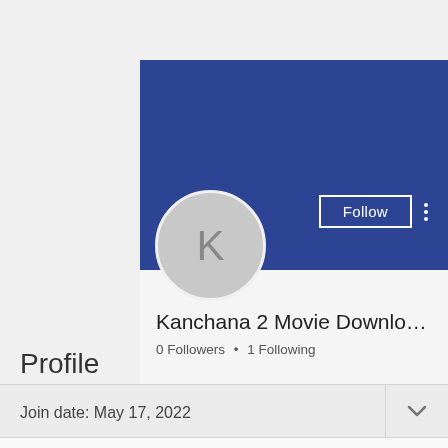[Figure (screenshot): User profile page screenshot showing a blue banner header, circular avatar with letter K, Follow button, username 'Kanchana 2 Movie Download...', follower/following counts, and Profile section with join date.]
Kanchana 2 Movie Download...
0 Followers • 1 Following
Profile
Join date: May 17, 2022